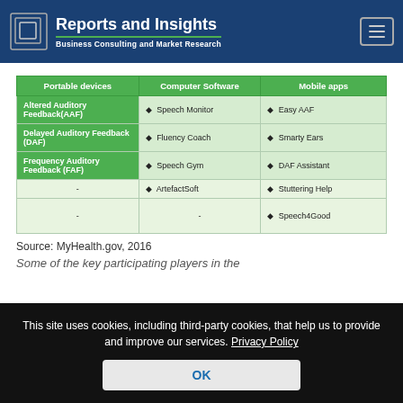Reports and Insights — Business Consulting and Market Research
| Portable devices | Computer Software | Mobile apps |
| --- | --- | --- |
| Altered Auditory Feedback(AAF) | • Speech Monitor | • Easy AAF |
| Delayed Auditory Feedback (DAF) | • Fluency Coach | • Smarty Ears |
| Frequency Auditory Feedback (FAF) | • Speech Gym | • DAF Assistant |
| - | • ArtefactSoft | • Stuttering Help |
| - | - | • Speech4Good |
Source: MyHealth.gov, 2016
This site uses cookies, including third-party cookies, that help us to provide and improve our services. Privacy Policy
Some of the key participating players in the